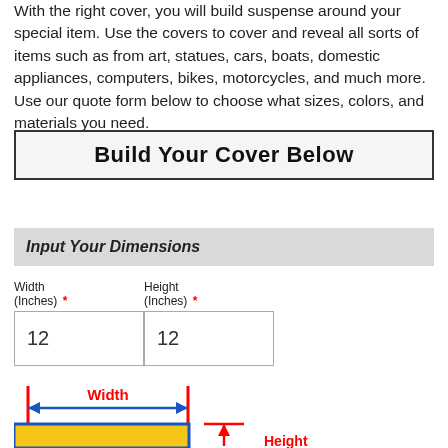With the right cover, you will build suspense around your special item. Use the covers to cover and reveal all sorts of items such as from art, statues, cars, boats, domestic appliances, computers, bikes, motorcycles, and much more. Use our quote form below to choose what sizes, colors, and materials you need.
Build Your Cover Below
Input Your Dimensions
Width (Inches) * | Height (Inches) *
12 | 12
[Figure (illustration): Diagram showing width arrow (horizontal double-headed arrow in blue with red vertical bars on sides, labeled 'Width' in red) above a yellow rectangle with blue border. A red horizontal line with upward arrow labeled 'Height' in red appears to the right of the rectangle.]